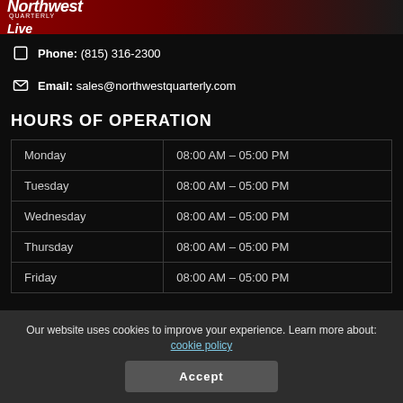Northwest Quarterly Live
Phone: (815) 316-2300
Email: sales@northwestquarterly.com
HOURS OF OPERATION
| Day | Hours |
| --- | --- |
| Monday | 08:00 AM – 05:00 PM |
| Tuesday | 08:00 AM – 05:00 PM |
| Wednesday | 08:00 AM – 05:00 PM |
| Thursday | 08:00 AM – 05:00 PM |
| Friday | 08:00 AM – 05:00 PM |
Our website uses cookies to improve your experience. Learn more about: cookie policy
Accept